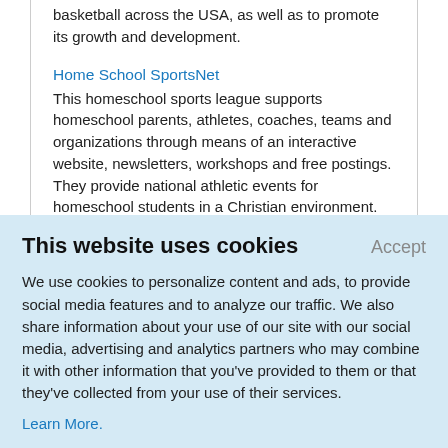basketball across the USA, as well as to promote its growth and development.
Home School SportsNet
This homeschool sports league supports homeschool parents, athletes, coaches, teams and organizations through means of an interactive website, newsletters, workshops and free postings. They provide national athletic events for homeschool students in a Christian environment. They offer encouragement to new start-up teams as well as established
This website uses cookies
Accept
We use cookies to personalize content and ads, to provide social media features and to analyze our traffic. We also share information about your use of our site with our social media, advertising and analytics partners who may combine it with other information that you've provided to them or that they've collected from your use of their services.
Learn More.
sportsmanship.